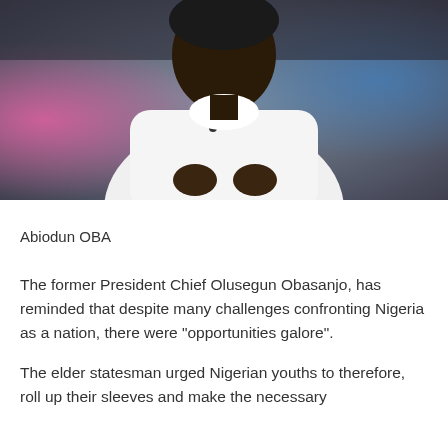[Figure (photo): A man dressed in white traditional attire with a lapel microphone, photographed at what appears to be a media or conference event with blurred colorful background lighting.]
Abiodun OBA
The former President Chief Olusegun Obasanjo, has reminded that despite many challenges confronting Nigeria as a nation, there were “opportunities galore”.
The elder statesman urged Nigerian youths to therefore, roll up their sleeves and make the necessary